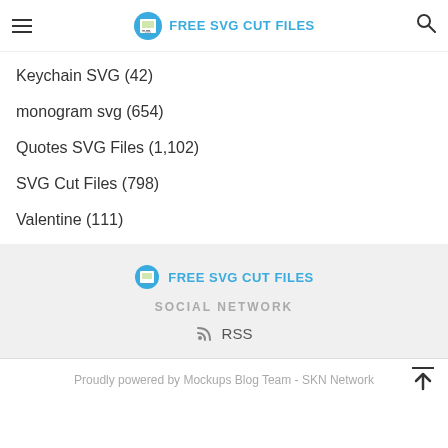FREE SVG CUT FILES
Keychain SVG (42)
monogram svg (654)
Quotes SVG Files (1,102)
SVG Cut Files (798)
Valentine (111)
[Figure (logo): FREE SVG CUT FILES logo in footer]
SOCIAL NETWORK
RSS
Proudly powered by Mockups Blog Team - SKN Network